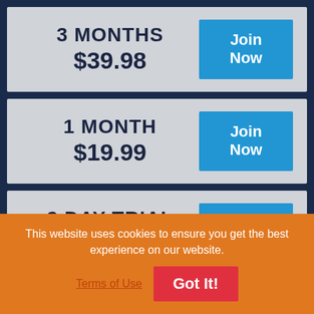3 MONTHS
$39.98
Join Now
1 MONTH
$19.99
Join Now
2 DAY TRIAL
$3.99
Start Trial
PAY PER MINUTE
This website uses cookies to ensure you get the best experience on our website.
Terms of Use
Got It!